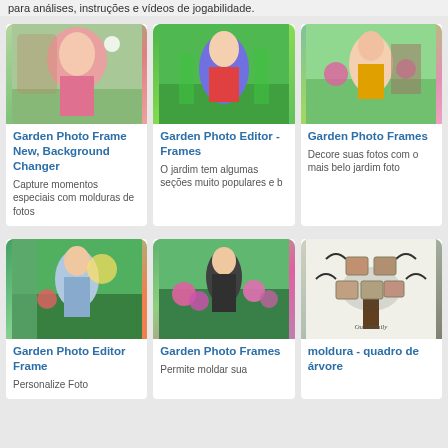para análises, instruções e vídeos de jogabilidade.
Garden Photo Frame New, Background Changer
Capture momentos especiais com molduras de fotos
Garden Photo Editor - Frames
O jardim tem algumas seções muito populares e b
Garden Photo Frames
Decore suas fotos com o mais belo jardim foto
Garden Photo Editor Frame
Personalize Foto
Garden Photo Frames
Permite moldar sua
moldura - quadro de árvore
[Figure (photo): Garden photo frame app icon showing a woman in a garden with a bird]
[Figure (photo): Garden photo editor app icon showing a man sitting in a garden]
[Figure (photo): Garden photo frames app icon showing a girl with flowers]
[Figure (photo): Garden photo editor frame app icon showing a man in a garden]
[Figure (photo): Garden photo frames app icon showing a woman in a flower garden]
[Figure (photo): Moldura quadro de árvore app icon showing a family tree photo frame]